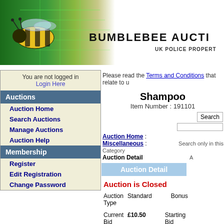[Figure (illustration): Bumblebee Auctions website header banner with a bumblebee on a green circuit board background, with text BUMBLEBEE AUCTIONS and UK POLICE PROPERTY]
You are not logged in Login Here
Auctions
Auction Home
Search Auctions
Manage Auctions
Auction Help
Membership
Register
Edit Registration
Change Password
Please read the Terms and Conditions that relate to u
Shampoo
Item Number : 191101
Auction Home : Miscellaneous : Auction Detail
Search only in this Category
Auction Detail
Auction is Closed
Auction Type   Standard   Bonus
Current Bid   £10.50   Starting Bid